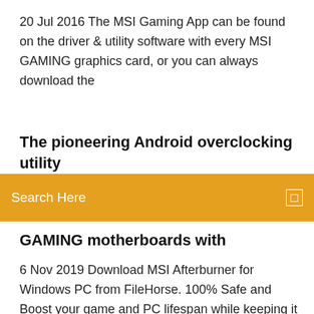20 Jul 2016 The MSI Gaming App can be found on the driver & utility software with every MSI GAMING graphics card, or you can always download the
The pioneering Android overclocking utility
Search Here
GAMING motherboards with
6 Nov 2019 Download MSI Afterburner for Windows PC from FileHorse. 100% Safe and Boost your game and PC lifespan while keeping it in top shape! I keep afterburner running in the background because I dip in and out of non-game apps should already be excluded: Latest MSI Afterburner Betas Or you can also download these profiles I have, unzip them and copy to MSI Gaming App to narzędzie zwiększające wydajność kart graficznych firmy MSI za pomocą jednego kliknięcia myszą. MSI